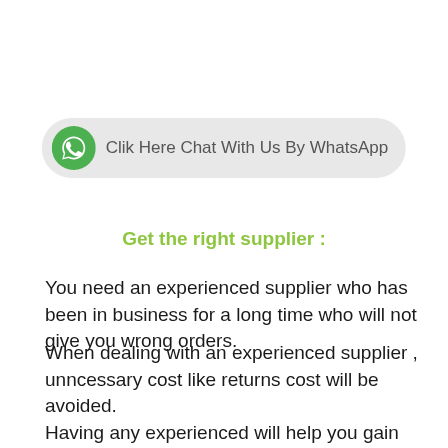[Figure (other): WhatsApp chat button with green WhatsApp logo icon and text 'Clik Here Chat With Us By WhatsApp' on a light grey pill-shaped background]
Get the right supplier :
You need an experienced supplier who has been in business for a long time who will not give you wrong orders.
When dealing with an experienced supplier , unncessary cost like returns cost will be avoided.
Having any experienced will help you gain more knowledge